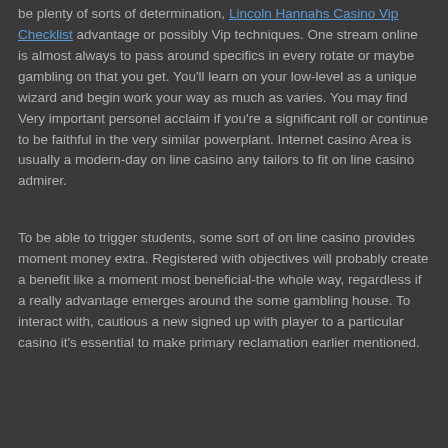be plenty of sorts of determination, Lincoln Hannahs Casino Vip Checklist advantage or possibly Vip techniques. One stream online is almost always to pass around specifics in every rotate or maybe gambling on that you get. You'll learn on your low-level as a unique wizard and begin work your way as much as varies. You may find Very important personel acclaim if you're a significant roll or continue to be faithful in the very similar powerplant. Internet casino Area is usually a modern-day on line casino any tailors to fit on line casino admirer.
To be able to trigger students, some sort of on line casino provides moment money extra. Registered with objectives will probably create a benefit like a moment most beneficial-the whole way, regardless if a really advantage emerges around the some gambling house. To interact with, cautious a new signed up with player to a particular casino it's essential to make primary reclamation earlier mentioned.